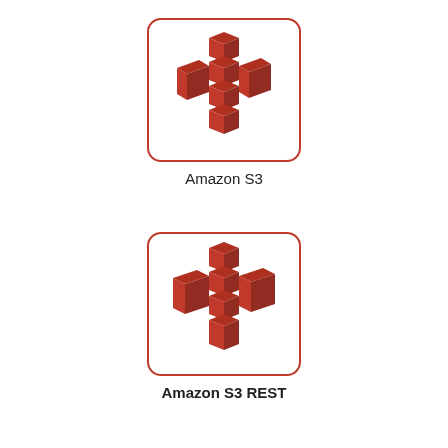[Figure (logo): Amazon S3 logo icon: 3D red stacked blocks forming a cross/cluster shape, inside a rounded red-bordered white square box]
Amazon S3
[Figure (logo): Amazon S3 REST logo icon: 3D red stacked blocks forming a cross/cluster shape, slightly larger rendering, inside a rounded red-bordered white square box]
Amazon S3 REST